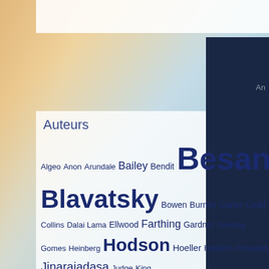Auteurs
[Figure (infographic): Tag cloud of author names in varying sizes indicating frequency. Names include Besant (largest), Blavatsky (very large), Krishnamurti (very large), Leadbeater (large), Sri Ram (large), Hodson (large), Jinarajadasa (medium-large), and many others in smaller sizes.]
Onze producten
Onderwerpen
Aarde (6)
A seco that us twelve he ach the po we sha and de